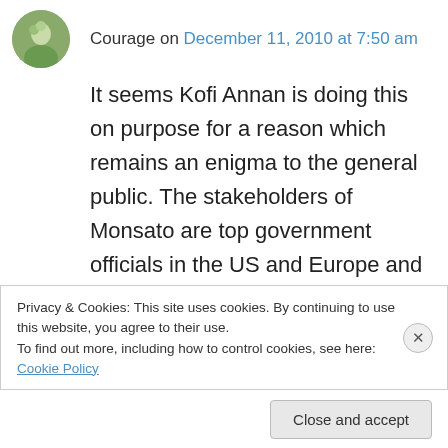Courage on December 11, 2010 at 7:50 am
It seems Kofi Annan is doing this on purpose for a reason which remains an enigma to the general public. The stakeholders of Monsato are top government officials in the US and Europe and might be influential on Kofi. But how could he do such a thing after being a world public figure and one who is expected to help nations, especially in Africa make the right choices? I am strictly against GMOs in Ghana and Africa as a
Privacy & Cookies: This site uses cookies. By continuing to use this website, you agree to their use.
To find out more, including how to control cookies, see here: Cookie Policy
Close and accept